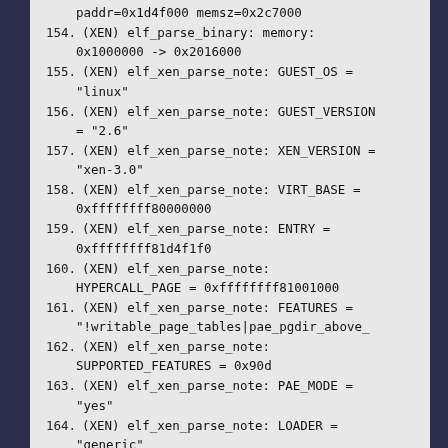paddr=0x1d4f000 memsz=0x2c7000
154. (XEN) elf_parse_binary: memory: 0x1000000 -> 0x2016000
155. (XEN) elf_xen_parse_note: GUEST_OS = "linux"
156. (XEN) elf_xen_parse_note: GUEST_VERSION = "2.6"
157. (XEN) elf_xen_parse_note: XEN_VERSION = "xen-3.0"
158. (XEN) elf_xen_parse_note: VIRT_BASE = 0xffffffff80000000
159. (XEN) elf_xen_parse_note: ENTRY = 0xffffffff81d4f1f0
160. (XEN) elf_xen_parse_note: HYPERCALL_PAGE = 0xffffffff81001000
161. (XEN) elf_xen_parse_note: FEATURES = "!writable_page_tables|pae_pgdir_above_4g"
162. (XEN) elf_xen_parse_note: SUPPORTED_FEATURES = 0x90d
163. (XEN) elf_xen_parse_note: PAE_MODE = "yes"
164. (XEN) elf_xen_parse_note: LOADER = "generic"
165. (XEN) elf_xen_parse_note: unknown xen elf note (0xd)
166. (XEN) elf_xen_parse_note: SUSPEND_CANCEL = 0x1
167. (XEN) elf_xen_parse_note: MOD_START_PFN